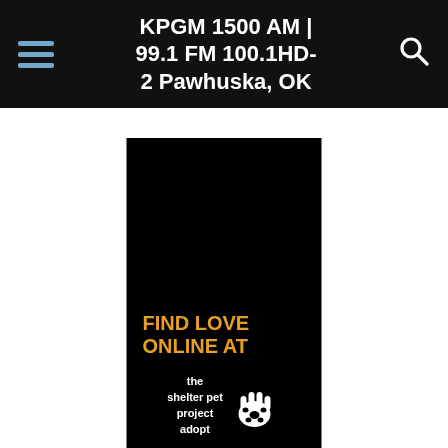KPGM 1500 AM | 99.1 FM 100.1HD-2 Pawhuska, OK
[Figure (illustration): Advertisement for The Shelter Pet Project showing black background with orange bold text 'FIND LOVE ONLINE AT' and white logo text 'the shelter pet project adopt' with a paw print hand icon]